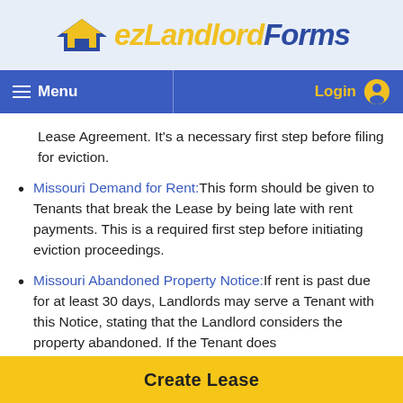[Figure (logo): ezLandlordForms logo with house icon]
Menu | Login
Lease Agreement. It’s a necessary first step before filing for eviction.
Missouri Demand for Rent: This form should be given to Tenants that break the Lease by being late with rent payments. This is a required first step before initiating eviction proceedings.
Missouri Abandoned Property Notice: If rent is past due for at least 30 days, Landlords may serve a Tenant with this Notice, stating that the Landlord considers the property abandoned. If the Tenant does not respond within 10 days, stating that the property is not...
Create Lease